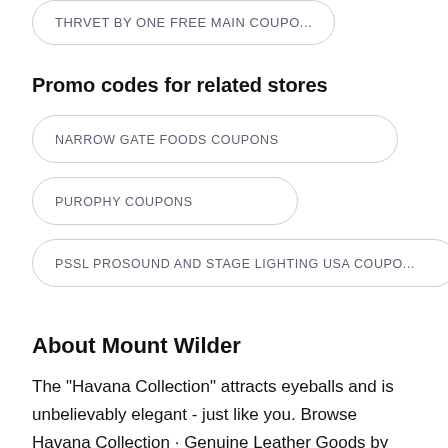THRVET BY ONE FREE MAIN COUPO...
Promo codes for related stores
NARROW GATE FOODS COUPONS
PUROPHY COUPONS
PSSL PROSOUND AND STAGE LIGHTING USA COUPO...
About Mount Wilder
The "Havana Collection" attracts eyeballs and is unbelievably elegant - just like you. Browse Havana Collection · Genuine Leather Goods by Mount Wilder.